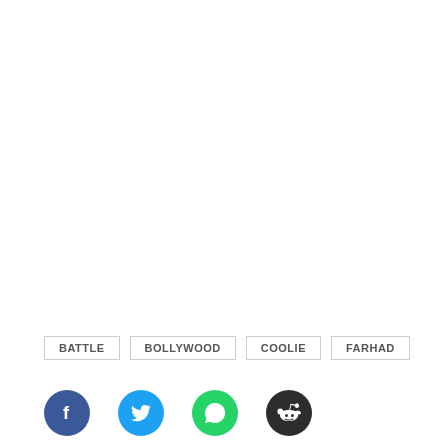BATTLE
BOLLYWOOD
COOLIE
FARHAD
[Figure (infographic): Social sharing buttons: Facebook (blue circle with f icon), Twitter (light blue circle with bird icon), WhatsApp (green circle with phone icon), Reddit (dark circle with alien icon)]